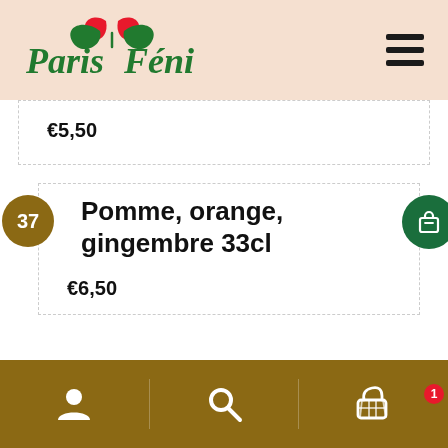[Figure (logo): Paris Féni logo with green cursive text and red leaf/butterfly graphic]
€5,50
37
Pomme, orange, gingembre 33cl
€6,50